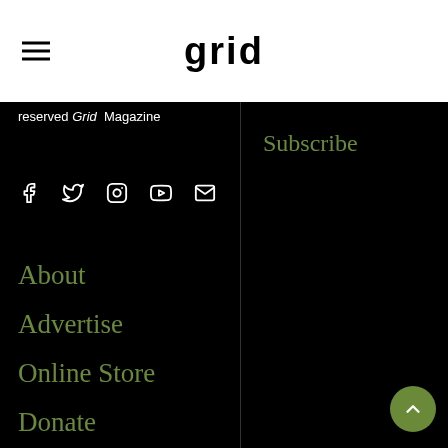grid
reserved Grid Magazine
[Figure (other): Social media icons row: Facebook, Twitter, Instagram, YouTube, Email]
Subscribe
About
Advertise
Online Store
Donate
Distribution
Magazine
Contact